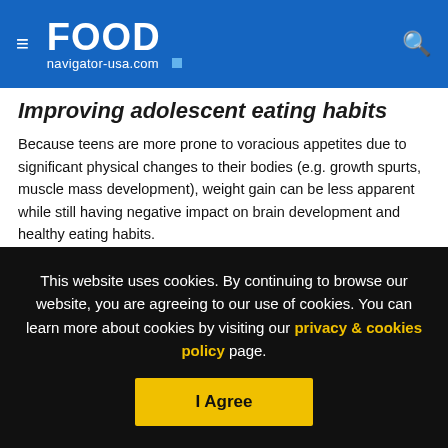FOOD navigator-usa.com
Improving adolescent eating habits
Because teens are more prone to voracious appetites due to significant physical changes to their bodies (e.g. growth spurts, muscle mass development), weight gain can be less apparent while still having negative impact on brain development and healthy eating habits.
Researchers proposed that in order to improve eating habits during adolescence, there should be a stronger emphasis on diet quality rather than measuring health solely on BMI.
This website uses cookies. By continuing to browse our website, you are agreeing to our use of cookies. You can learn more about cookies by visiting our privacy & cookies policy page.
I Agree